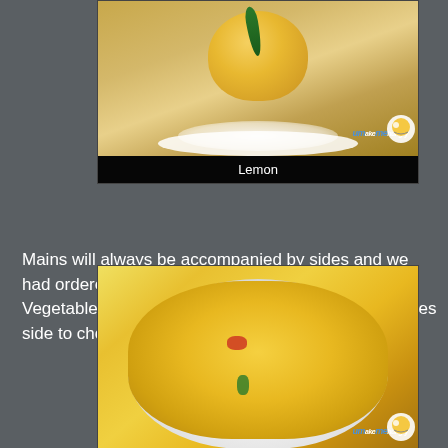[Figure (photo): Photo of a lemon-shaped dim sum bun on a white doily and plate, with a green ribbon/garnish on top. Has umakemehungry watermark.]
Lemon
Mains will always be accompanied by sides and we had ordered the recommended sides from the Vegetables Menu. They do have a varieties of potatoes side to choose from too.
[Figure (photo): Photo of Fire-Roasted Corn served in a white oval dish, with pieces of corn kernels mixed with red peppers and green herbs. Has umakemehungry watermark.]
Fire-Roasted Corn - $18